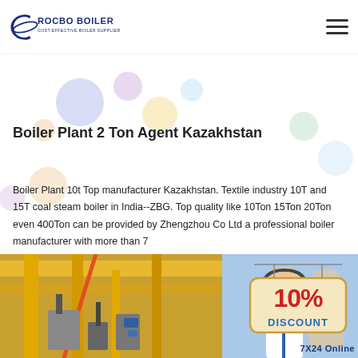ROCBO BOILER - COST-EFFECTIVE BOILER SUPPLIER
Boiler Plant 2 Ton Agent Kazakhstan
Boiler Plant 10t Top manufacturer Kazakhstan. Textile industry 10T and 15T coal steam boiler in India--ZBG. Top quality like 10Ton 15Ton 20Ton even 400Ton can be provided by Zhengzhou Co Ltd a professional boiler manufacturer with more than 7...
[Figure (illustration): 10% Discount badge/sign with red and teal text on a wooden hanging sign]
[Figure (photo): Bottom image showing industrial boiler facility with yellow structural beams on left, and a female customer service representative with headset on right, with '7X24 Online' text overlay]
Get Price